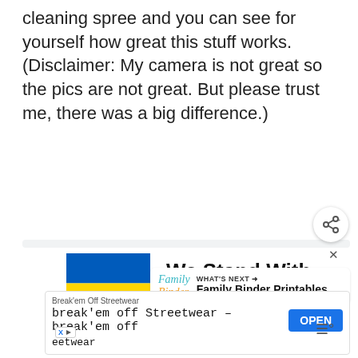cleaning spree and you can see for yourself how great this stuff works. (Disclaimer: My camera is not great so the pics are not great. But please trust me, there was a big difference.)
[Figure (other): Advertisement banner with Ukrainian flag graphic and text 'We Stand With You']
[Figure (other): Bottom advertisement: Break'em Off Streetwear ad with OPEN button]